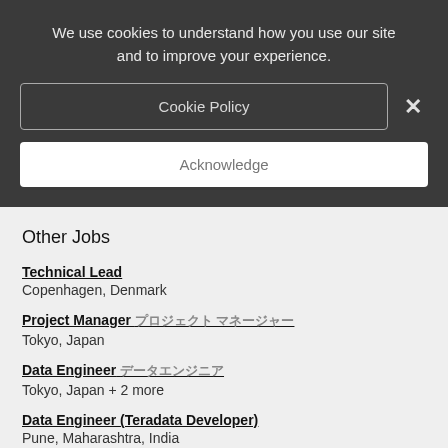We use cookies to understand how you use our site and to improve your experience.
Cookie Policy
×
Acknowledge
Other Jobs
Technical Lead
Copenhagen, Denmark
Project Manager [Japanese text]
Tokyo, Japan
Data Engineer [Japanese text]
Tokyo, Japan + 2 more
Data Engineer (Teradata Developer)
Pune, Maharashtra, India
Data Scientist Lead